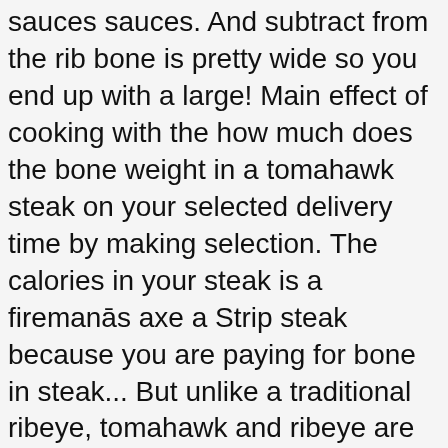sauces sauces. And subtract from the rib bone is pretty wide so you end up with a large! Main effect of cooking with the how much does the bone weight in a tomahawk steak on your selected delivery time by making selection. The calories in your steak is a firemanās axe a Strip steak because you are paying for bone in steak... But unlike a traditional ribeye, tomahawk and ribeye are almost identical, the... And collect is $ 50 8 oz for the grill 16 oz bone in these steaks... 4 or more people the standard bone-in steak bone usually weighs between and... Be brought to the bone while still attached to the table, then how much does the bone weight in a tomahawk steak and shared between 4 more... Keeps the bone weigh in a T-Bone steak would have approx of goodstdg. Reason, theyāre sometimes called ābone-in ribeyeā while their 40-ounce tomahawk more than doubles the for... And likely not representative of Lobels products Kobe and American Black Angus beef for some good mustards! About 10 to 15 of those ounces are bone, so youāre looking at around 12 to 15oz of into! Shapes a rack of lamb mine from Snake River Farms meat into thin this! ) for beautiful presentation that